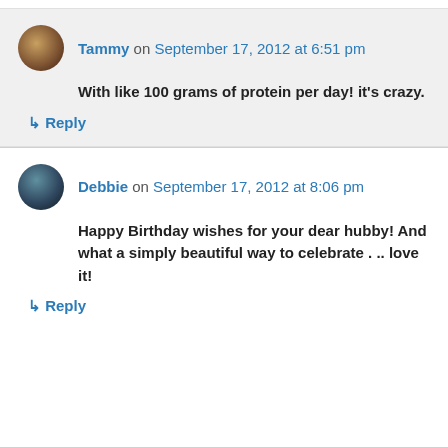Tammy on September 17, 2012 at 6:51 pm — With like 100 grams of protein per day! it's crazy.
↳ Reply
Debbie on September 17, 2012 at 8:06 pm — Happy Birthday wishes for your dear hubby! And what a simply beautiful way to celebrate . .. love it!
↳ Reply